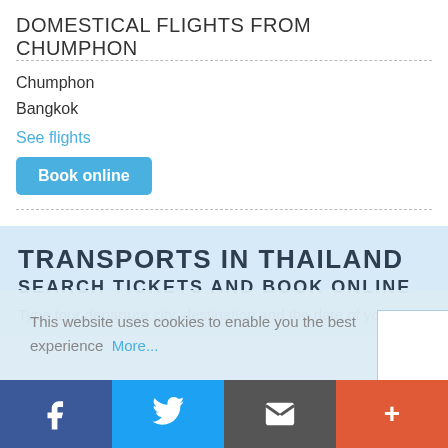DOMESTICAL FLIGHTS FROM CHUMPHON
Chumphon
Bangkok
See flights
Book online
TRANSPORTS IN THAILAND
SEARCH TICKETS AND BOOK ONLINE
Type tour departure city, destination and the date of your
This website uses cookies to enable you the best experience  More...
[Figure (screenshot): Social media bar with Facebook, Twitter, email, and plus icons]